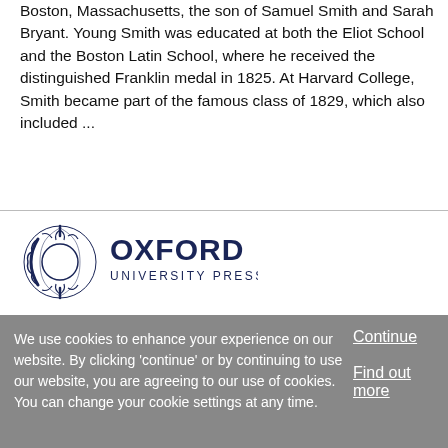Boston, Massachusetts, the son of Samuel Smith and Sarah Bryant. Young Smith was educated at both the Eliot School and the Boston Latin School, where he received the distinguished Franklin medal in 1825. At Harvard College, Smith became part of the famous class of 1829, which also included ...
[Figure (logo): Oxford University Press logo with circular laurel wreath icon and bold OXFORD text with UNIVERSITY PRESS subtitle in navy blue]
We use cookies to enhance your experience on our website. By clicking 'continue' or by continuing to use our website, you are agreeing to our use of cookies. You can change your cookie settings at any time.
Continue
Find out more